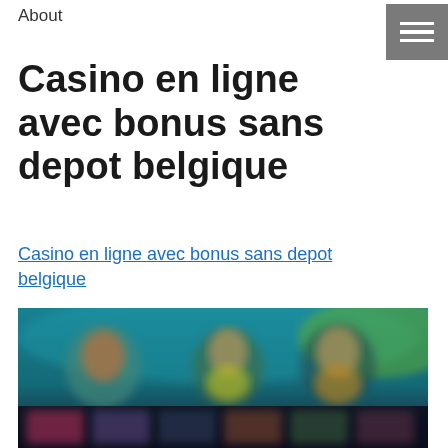About
Casino en ligne avec bonus sans depot belgique
Casino en ligne avec bonus sans depot belgique
[Figure (screenshot): Blurred screenshot of an online casino website showing colorful game thumbnails with characters, on a dark background with teal/green tones.]